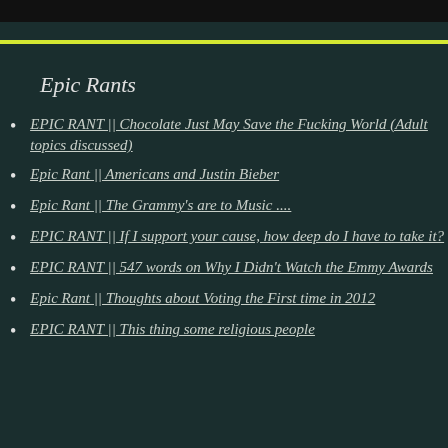Epic Rants
EPIC RANT || Chocolate Just May Save the Fucking World (Adult topics discussed)
Epic Rant || Americans and Justin Bieber
Epic Rant || The Grammy's are to Music ....
EPIC RANT || If I support your cause, how deep do I have to take it?
EPIC RANT || 547 words on Why I Didn't Watch the Emmy Awards
Epic Rant || Thoughts about Voting the First time in 2012
EPIC RANT || This thing some religious people